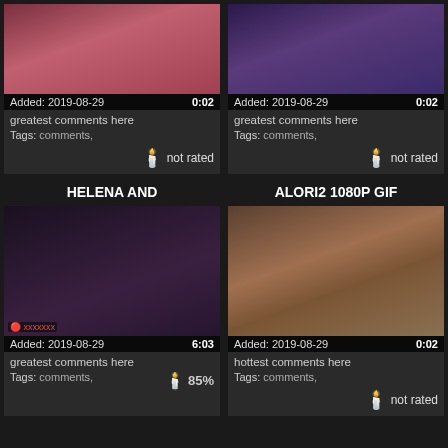[Figure (screenshot): Top-left video thumbnail: pink/red toned 3D animation still]
Added: 2019-08-29   0:02
greatest comments here
Tags: comments,
not rated
[Figure (screenshot): Top-right video thumbnail: purple toned 3D animation still with dark-haired character]
Added: 2019-08-29   0:02
greatest comments here
Tags: comments,
not rated
HELENA AND
ALORI2 1080P GIF
[Figure (screenshot): Bottom-left video thumbnail: dark 3D animation still]
Added: 2019-08-29   6:03
greatest comments here
Tags: comments,   85%
[Figure (screenshot): Bottom-right video thumbnail: 3D animation still with wolf/werewolf character]
Added: 2019-08-29   0:02
hottest comments here
Tags: comments,
not rated